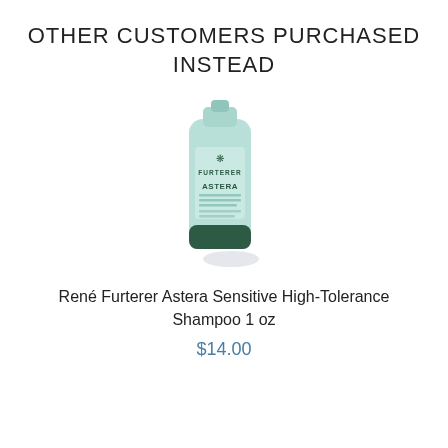OTHER CUSTOMERS PURCHASED INSTEAD
[Figure (photo): A small light blue squeeze tube of René Furterer Astera Sensitive shampoo with a dark green cap, shown upright with a soft shadow behind it.]
René Furterer Astera Sensitive High-Tolerance Shampoo 1 oz
$14.00